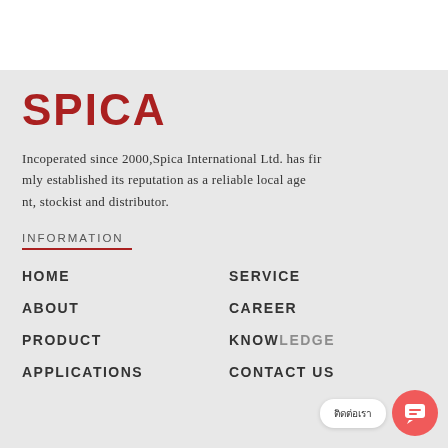[Figure (logo): SPICA logo in dark red/maroon bold text]
Incoperated since 2000,Spica International Ltd. has firmly established its reputation as a reliable local agent, stockist and distributor.
INFORMATION
HOME
SERVICE
ABOUT
CAREER
PRODUCT
KNOWLEDGE
APPLICATIONS
CONTACT US